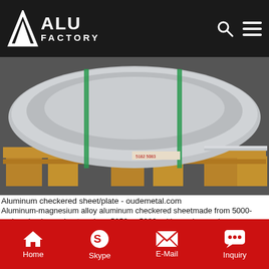ALU FACTORY
[Figure (photo): Aluminum checkered sheet/plate rolls bundled with green straps, stacked on wooden pallets on a dark floor]
Aluminum checkered sheet/plate - oudemetal.com
Aluminum-magnesium alloy aluminum checkered sheetmade from 5000-series aluminum sheet such as 5052 or 5083, with good corrosion resistance, hardness and rust resistance. Usually used in special places, such as ships, carriage lights in humid environment, this kind of aluminum sheet is high hardness, has a certain bearing capacity。
Get Price
[Figure (photo): Aluminum flat sheet/plate with protective film, stacked with cardboard separator on a work surface]
Home  Skype  E-Mail  Inquiry